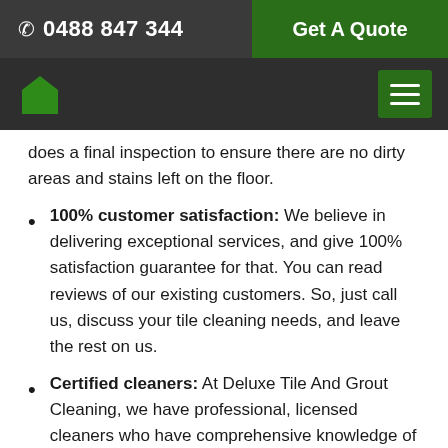☎ 0488 847 344  |  Get A Quote
[Figure (screenshot): Navigation bar with green home icon on left and green hamburger menu button on right, on dark background]
does a final inspection to ensure there are no dirty areas and stains left on the floor.
100% customer satisfaction: We believe in delivering exceptional services, and give 100% satisfaction guarantee for that. You can read reviews of our existing customers. So, just call us, discuss your tile cleaning needs, and leave the rest on us.
Certified cleaners: At Deluxe Tile And Grout Cleaning, we have professional, licensed cleaners who have comprehensive knowledge of the latest techniques for tile